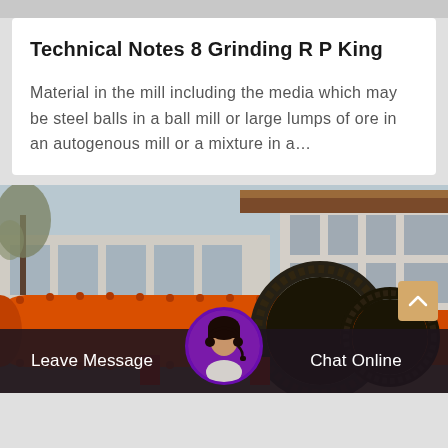Technical Notes 8 Grinding R P King
Material in the mill including the media which may be steel balls in a ball mill or large lumps of ore in an autogenous mill or a mixture in a…
[Figure (photo): Industrial ball mill / grinding mill machinery in orange, photographed outdoors in front of a building with bare trees and a tiled roof structure in background.]
Leave Message   Chat Online